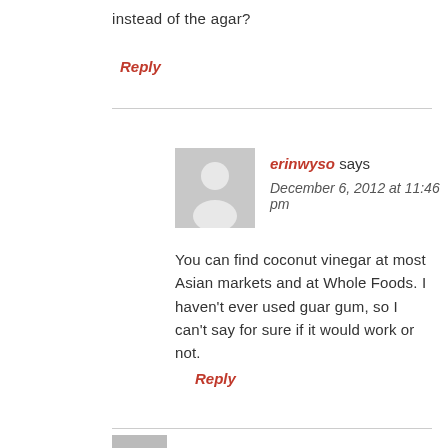instead of the agar?
Reply
erinwyso says
December 6, 2012 at 11:46 pm
You can find coconut vinegar at most Asian markets and at Whole Foods. I haven't ever used guar gum, so I can't say for sure if it would work or not.
Reply